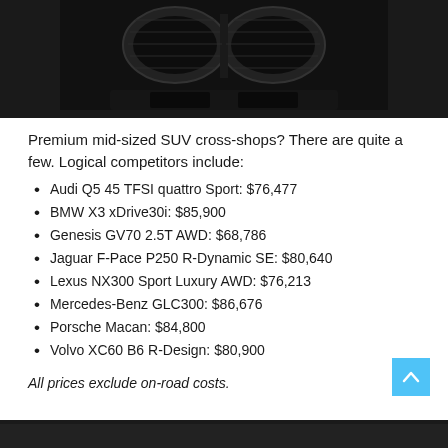[Figure (photo): Black and white close-up photo of the front grille of a BMW vehicle against a dark background]
Premium mid-sized SUV cross-shops? There are quite a few. Logical competitors include:
Audi Q5 45 TFSI quattro Sport: $76,477
BMW X3 xDrive30i: $85,900
Genesis GV70 2.5T AWD: $68,786
Jaguar F-Pace P250 R-Dynamic SE: $80,640
Lexus NX300 Sport Luxury AWD: $76,213
Mercedes-Benz GLC300: $86,676
Porsche Macan: $84,800
Volvo XC60 B6 R-Design: $80,900
All prices exclude on-road costs.
[Figure (photo): Partial view of a dark colored vehicle at the bottom of the page]